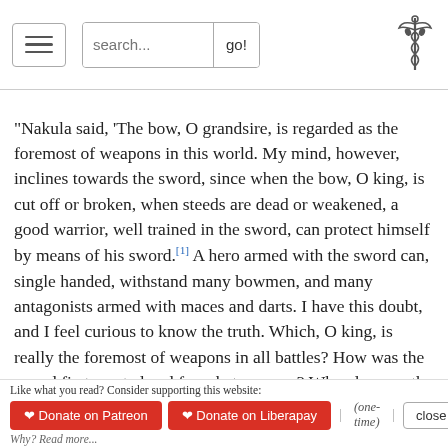Navigation bar with hamburger menu, search box, and caduceus logo
"Nakula said, 'The bow, O grandsire, is regarded as the foremost of weapons in this world. My mind, however, inclines towards the sword, since when the bow, O king, is cut off or broken, when steeds are dead or weakened, a good warrior, well trained in the sword, can protect himself by means of his sword.[1] A hero armed with the sword can, single handed, withstand many bowmen, and many antagonists armed with maces and darts. I have this doubt, and I feel curious to know the truth. Which, O king, is really the foremost of weapons in all battles? How was the sword first created and for what purpose? Who also was the first preceptor in the weapon? Tell me all this, O grandsire.'
"Vaisampayana continued, 'Hearing these words of the intelligent son of Madri, the virtuous Bhishma, the complete master of the science of the bow, stretched upon his bed of
Like what you read? Consider supporting this website: ♥ Donate on Patreon  ♥ Donate on Liberapay  | (one-time) |  close ✕  Why? Read more...